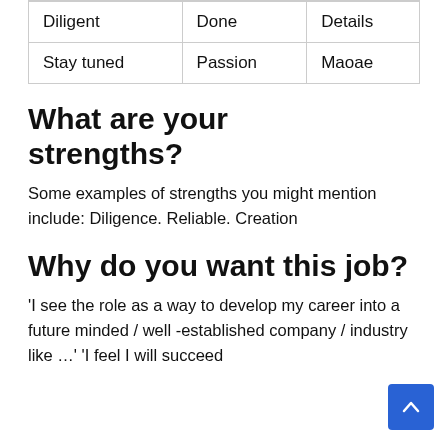| Diligent | Done | Details |
| Stay tuned | Passion | Maoae |
What are your strengths?
Some examples of strengths you might mention include: Diligence. Reliable. Creation
Why do you want this job?
'I see the role as a way to develop my career into a future minded / well -established company / industry like …' 'I feel I will succeed